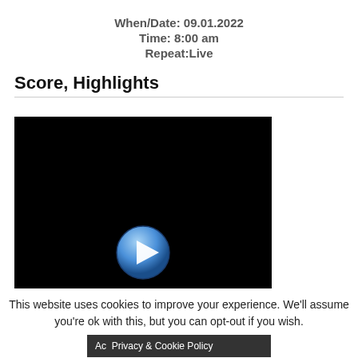When/Date: 09.01.2022
Time: 8:00 am
Repeat:Live
Score, Highlights
[Figure (screenshot): Video player with black background and a blue play button at bottom center]
This website uses cookies to improve your experience. We'll assume you're ok with this, but you can opt-out if you wish.
Ac  Privacy & Cookie Policy